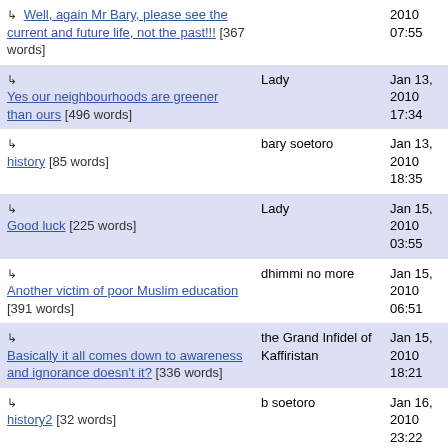| Title | Author | Date |
| --- | --- | --- |
| ↳ Well, again Mr Bary, please see the current and future life, not the past!!! [367 words] |  | 2010 07:55 |
| ↳ Yes our neighbourhoods are greener than ours [496 words] | Lady | Jan 13, 2010 17:34 |
| ↳ history [85 words] | bary soetoro | Jan 13, 2010 18:35 |
| ↳ Good luck [225 words] | Lady | Jan 15, 2010 03:55 |
| ↳ Another victim of poor Muslim education [391 words] | dhimmi no more | Jan 15, 2010 06:51 |
| ↳ Basically it all comes down to awareness and ignorance doesn't it? [336 words] | the Grand Infidel of Kaffiristan | Jan 15, 2010 18:21 |
| ↳ history2 [32 words] | b soetoro | Jan 16, 2010 23:22 |
| ↳ Neighbour grass is greener [58 words] | b soetoro | Jan 17, 2010 00:42 |